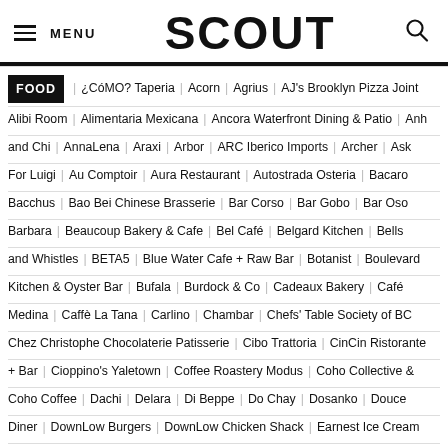MENU | SCOUT | search
FOOD | ¿CóMO? Taperia | Acorn | Agrius | AJ's Brooklyn Pizza Joint | Alibi Room | Alimentaria Mexicana | Ancora Waterfront Dining & Patio | Anh and Chi | AnnaLena | Araxi | Arbor | ARC Iberico Imports | Archer | Ask For Luigi | Au Comptoir | Aura Restaurant | Autostrada Osteria | Bacaro | Bacchus | Bao Bei Chinese Brasserie | Bar Corso | Bar Gobo | Bar Oso | Barbara | Beaucoup Bakery & Cafe | Bel Café | Belgard Kitchen | Bells and Whistles | BETA5 | Blue Water Cafe + Raw Bar | Botanist | Boulevard Kitchen & Oyster Bar | Bufala | Burdock & Co | Cadeaux Bakery | Café Medina | Caffè La Tana | Carlino | Chambar | Chefs' Table Society of BC | Chez Christophe Chocolaterie Patisserie | Cibo Trattoria | CinCin Ristorante + Bar | Cioppino's Yaletown | Coffee Roastery Modus | Coho Collective & Coho Coffee | Dachi | Delara | Di Beppe | Do Chay | Dosanko | Douce Diner | DownLow Burgers | DownLow Chicken Shack | Earnest Ice Cream | East Van Roasters Cafe | Edge Catering | El Camino's | Elisa | Ellis, The